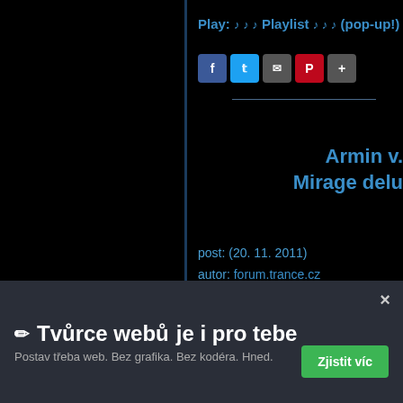Play: ♪ ♪ ♪ Playlist ♪ ♪ ♪ (pop-up!)
[Figure (other): Social sharing icons: Facebook, Twitter, Mail, Pinterest, Plus]
Armin v. Mirage delux
post: (20. 11. 2011)
autor: forum.trance.cz
deluxe verze vyšla v pátek na Beatportu
CD1 = žádná změna, songy z alba Mirage
✏ Tvůrce webů je i pro tebe
Postav třeba web. Bez grafika. Bez kodéra. Hned.